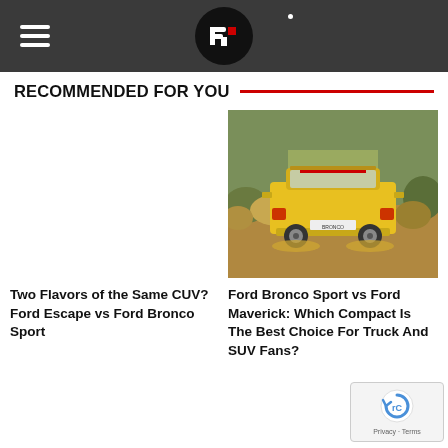Site header with hamburger menu and logo
RECOMMENDED FOR YOU
[Figure (photo): Yellow Ford Bronco Sport / Maverick truck driving off-road through dry brush and dirt, rear view, outdoor daytime scene]
Two Flavors of the Same CUV? Ford Escape vs Ford Bronco Sport
Ford Bronco Sport vs Ford Maverick: Which Compact Is The Best Choice For Truck And SUV Fans?
[Figure (logo): reCAPTCHA badge with Privacy and Terms text]